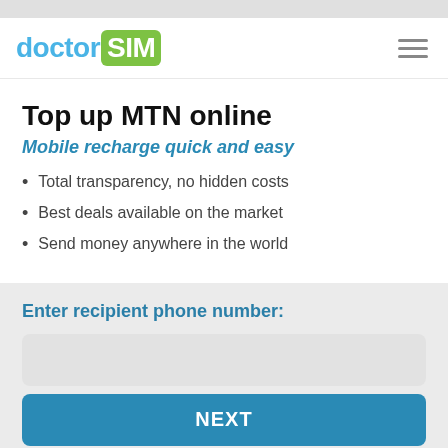[Figure (logo): doctorSIM logo with 'doctor' in blue and 'SIM' in white on green rounded rectangle background]
Top up MTN online
Mobile recharge quick and easy
Total transparency, no hidden costs
Best deals available on the market
Send money anywhere in the world
Enter recipient phone number:
NEXT